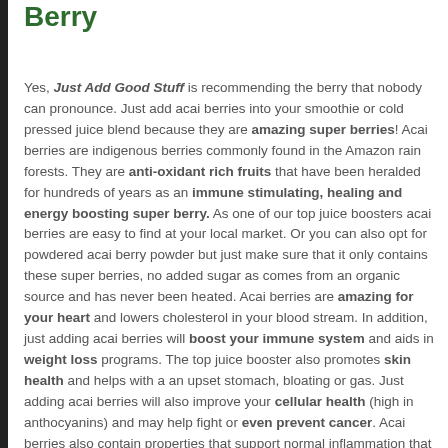Berry
Yes, Just Add Good Stuff is recommending the berry that nobody can pronounce. Just add acai berries into your smoothie or cold pressed juice blend because they are amazing super berries! Acai berries are indigenous berries commonly found in the Amazon rain forests. They are anti-oxidant rich fruits that have been heralded for hundreds of years as an immune stimulating, healing and energy boosting super berry. As one of our top juice boosters acai berries are easy to find at your local market. Or you can also opt for powdered acai berry powder but just make sure that it only contains these super berries, no added sugar as comes from an organic source and has never been heated. Acai berries are amazing for your heart and lowers cholesterol in your blood stream. In addition, just adding acai berries will boost your immune system and aids in weight loss programs. The top juice booster also promotes skin health and helps with a an upset stomach, bloating or gas. Just adding acai berries will also improve your cellular health (high in anthocyanins) and may help fight or even prevent cancer. Acai berries also contain properties that support normal inflammation that may prevent inflammations due to allergic reactions. The high levels of phytochemicals also contribute to the ability to slow or reverse typical processes related to aging and cellular oxidative damage, creating anti-aging